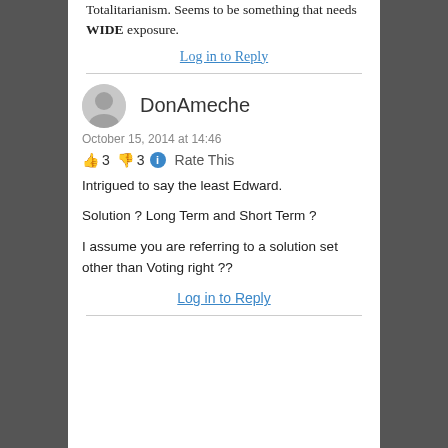Totalitarianism. Seems to be something that needs WIDE exposure.
Log in to Reply
DonAmeche
October 15, 2014 at 14:46
👍 3 👎 3 ℹ Rate This
Intrigued to say the least Edward.

Solution ? Long Term and Short Term ?

I assume you are referring to a solution set other than Voting right ??
Log in to Reply